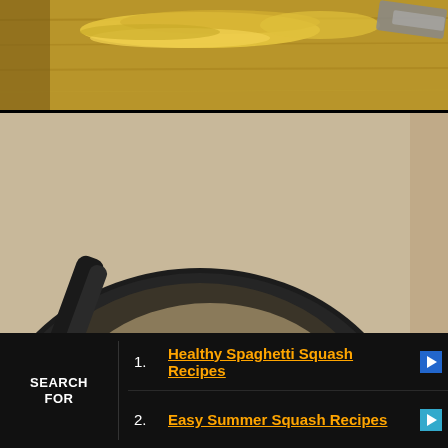[Figure (photo): Top partial photo: spaghetti squash strands on a wooden cutting board with a knife visible at the right edge]
[Figure (photo): Middle large photo: a black non-stick skillet on a gas stove with breadcrumbs, chopped parsley/herbs, and a dark spatula/tongs mixing the ingredients]
[Figure (photo): Bottom partial photo: a black skillet with spaghetti squash strands on a gas stove, partially visible]
1. Healthy Spaghetti Squash Recipes
2. Easy Summer Squash Recipes